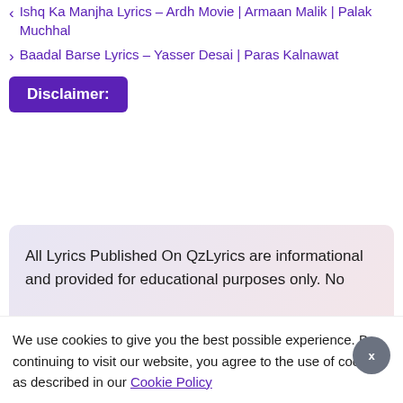< Ishq Ka Manjha Lyrics – Ardh Movie | Armaan Malik | Palak Muchhal
> Baadal Barse Lyrics – Yasser Desai | Paras Kalnawat
Disclaimer:
All Lyrics Published On QzLyrics are informational and provided for educational purposes only. No
We use cookies to give you the best possible experience. By continuing to visit our website, you agree to the use of cookies as described in our Cookie Policy